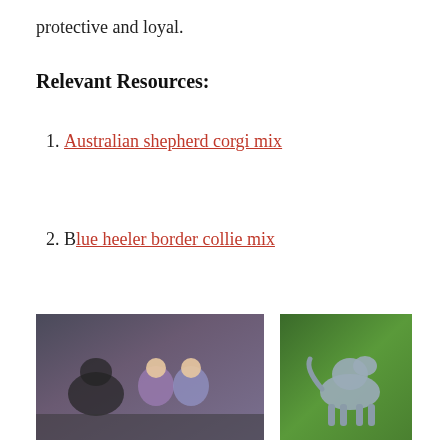protective and loyal.
Relevant Resources:
Australian shepherd corgi mix
Blue heeler border collie mix
[Figure (photo): Children sitting with a large dark dog in the back of a car]
The Six Safest Dogs for Children
December 7, 2016
[Figure (photo): A grey/blue Catahoula dog standing on grass]
Catahoula Lab Mix – Can A Crossbreed Of Two Hunting Dogs Result In A Gentle One?